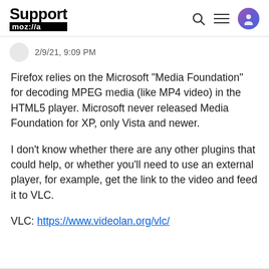Support mozilla
2/9/21, 9:09 PM
Firefox relies on the Microsoft "Media Foundation" for decoding MPEG media (like MP4 video) in the HTML5 player. Microsoft never released Media Foundation for XP, only Vista and newer.
I don't know whether there are any other plugins that could help, or whether you'll need to use an external player, for example, get the link to the video and feed it to VLC.
VLC: https://www.videolan.org/vlc/